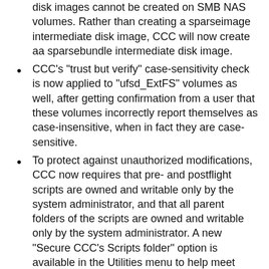disk images cannot be created on SMB NAS volumes. Rather than creating a sparseimage intermediate disk image, CCC will now create aa sparsebundle intermediate disk image.
CCC's "trust but verify" case-sensitivity check is now applied to "ufsd_ExtFS" volumes as well, after getting confirmation from a user that these volumes incorrectly report themselves as case-insensitive, when in fact they are case-sensitive.
To protect against unauthorized modifications, CCC now requires that pre- and postflight scripts are owned and writable only by the system administrator, and that all parent folders of the scripts are owned and writable only by the system administrator. A new "Secure CCC's Scripts folder" option is available in the Utilities menu to help meet these new requirements.
Fixed some UI issues around the visibility of the pre/postflight script interface elements.
Fixed an issue in which other tasks within a